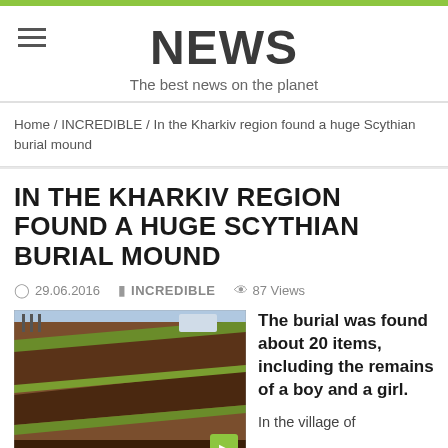NEWS
The best news on the planet
Home / INCREDIBLE / In the Kharkiv region found a huge Scythian burial mound
IN THE KHARKIV REGION FOUND A HUGE SCYTHIAN BURIAL MOUND
29.06.2016   INCREDIBLE   87 Views
[Figure (photo): Aerial or ground-level photograph of an archaeological excavation site showing a Scythian burial mound with dark soil and green vegetation strips.]
The burial was found about 20 items, including the remains of a boy and a girl.
In the village of